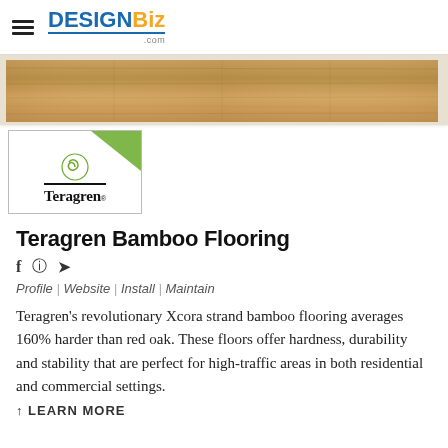DesignBiz.com
[Figure (photo): Close-up photo of bamboo wood flooring planks showing natural grain texture in warm brown tones]
[Figure (logo): Teragren brand logo with green triangle accent in top-right corner, spiral leaf icon, and Teragren wordmark with trademark symbol on dark underline]
Teragren Bamboo Flooring
f   Pinterest  Twitter (social share icons)
Profile | Website | Install | Maintain
Teragren's revolutionary Xcora strand bamboo flooring averages 160% harder than red oak. These floors offer hardness, durability and stability that are perfect for high-traffic areas in both residential and commercial settings.
↑ LEARN MORE